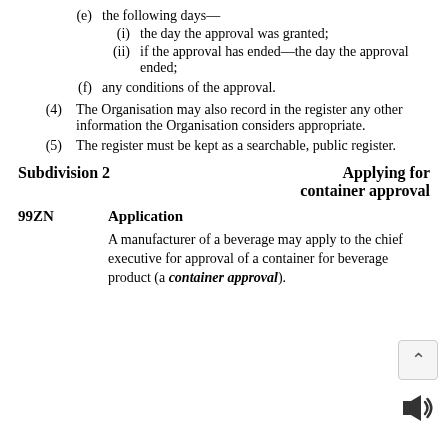(e) the following days—
(i) the day the approval was granted;
(ii) if the approval has ended—the day the approval ended;
(f) any conditions of the approval.
(4) The Organisation may also record in the register any other information the Organisation considers appropriate.
(5) The register must be kept as a searchable, public register.
Subdivision 2    Applying for container approval
99ZN    Application
A manufacturer of a beverage may apply to the chief executive for approval of a container for beverage product (a container approval).